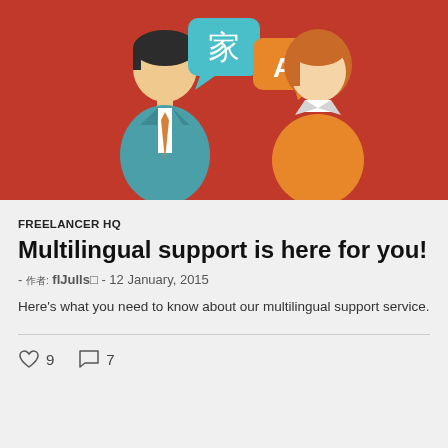[Figure (illustration): Red background illustration showing two cartoon figures (a man in teal suit and a woman in orange top) with speech bubbles: one containing a Chinese character 家 on a teal background, and one containing letter A on an orange background, representing multilingual communication.]
FREELANCER HQ
Multilingual support is here for you!
- 作者: flJulls□ - 12 January, 2015
Here's what you need to know about our multilingual support service.
♡ 9   ○ 7